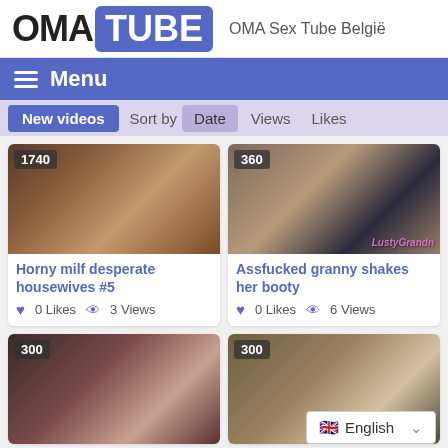OMA TUBE — OMA Sex Tube België
Menu
New videos  Sort by  Date  Views  Likes
[Figure (screenshot): Video thumbnail for 'Horny milf desperate housewives #5', view count badge 1740]
Horny milf desperate housewives #5
0 Likes  3 Views
[Figure (screenshot): Video thumbnail for 'Assfucked granny shakes her booty', view count badge 360, watermark LustyGrandn]
Assfucked granny shakes her booty
0 Likes  6 Views
[Figure (screenshot): Video thumbnail, view count badge 300]
[Figure (screenshot): Video thumbnail, view count badge 300]
English